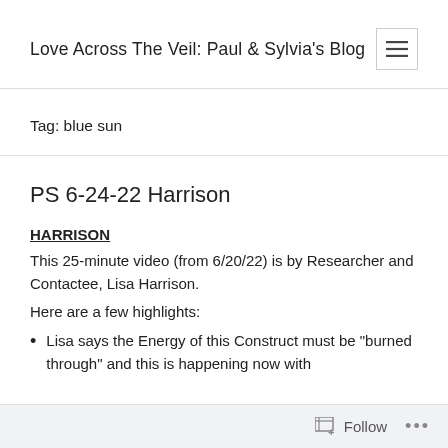Love Across The Veil: Paul & Sylvia's Blog
Tag: blue sun
PS 6-24-22 Harrison
HARRISON
This 25-minute video (from 6/20/22) is by Researcher and Contactee, Lisa Harrison.
Here are a few highlights:
Lisa says the Energy of this Construct must be “burned through” and this is happening now with